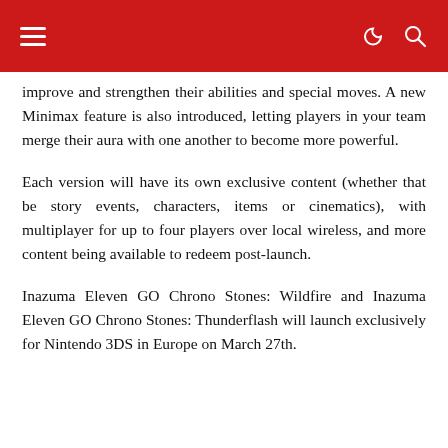improve and strengthen their abilities and special moves. A new Minimax feature is also introduced, letting players in your team merge their aura with one another to become more powerful.
Each version will have its own exclusive content (whether that be story events, characters, items or cinematics), with multiplayer for up to four players over local wireless, and more content being available to redeem post-launch.
Inazuma Eleven GO Chrono Stones: Wildfire and Inazuma Eleven GO Chrono Stones: Thunderflash will launch exclusively for Nintendo 3DS in Europe on March 27th.